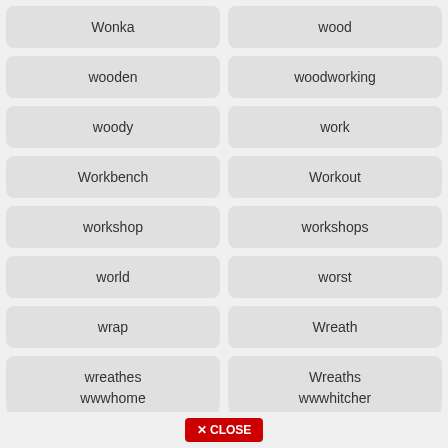Wonka
wood
wooden
woodworking
woody
work
Workbench
Workout
workshop
workshops
world
worst
wrap
Wreath
wreathes
Wreaths
wright
wusthof
wwwhome
wwwhitcher